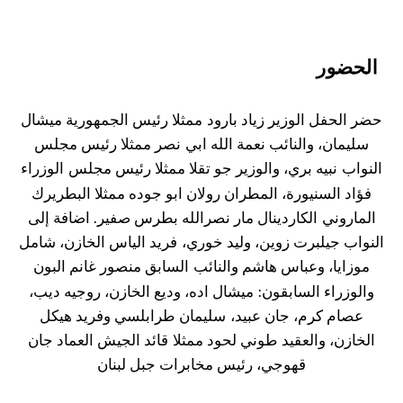الحضور
حضر الحفل الوزير زياد بارود ممثلا رئيس الجمهورية ميشال سليمان، والنائب نعمة الله ابي نصر ممثلا رئيس مجلس النواب نبيه بري، والوزير جو تقلا ممثلا رئيس مجلس الوزراء فؤاد السنيورة، المطران رولان ابو جوده ممثلا البطريرك الماروني الكاردينال مار نصرالله بطرس صفير. اضافة إلى النواب جيلبرت زوين، وليد خوري، فريد الياس الخازن، شامل موزايا، وعباس هاشم والنائب السابق منصور غانم البون والوزراء السابقون: ميشال اده، وديع الخازن، روجيه ديب، عصام كرم، جان عبيد، سليمان طرابلسي وفريد هيكل الخازن، والعقيد طوني لحود ممثلا قائد الجيش العماد جان قهوجي، رئيس مخابرات جبل لبنان